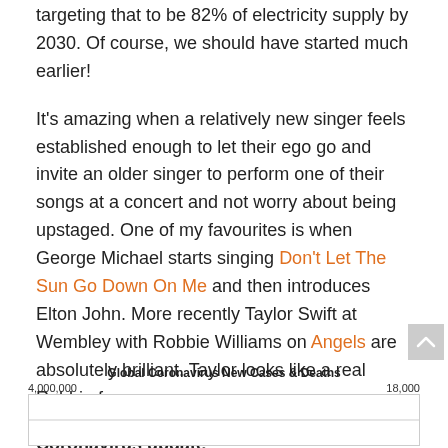targeting that to be 82% of electricity supply by 2030. Of course, we should have started much earlier!
It's amazing when a relatively new singer feels established enough to let their ego go and invite an older singer to perform one of their songs at a concert and not worry about being upstaged. One of my favourites is when George Michael starts singing Don't Let The Sun Go Down On Me and then introduces Elton John. More recently Taylor Swift at Wembley with Robbie Williams on Angels are absolutely brilliant. Taylor looks like a real Robbie fan.
Coronavirus update
New global Covid cases fell again over the last week with decline in Europe, the US and Asia.
[Figure (line-chart): Partial chart visible showing Global Coronavirus New Cases & Deaths with y-axis values 4,000,000 on left and 18,000 on right]